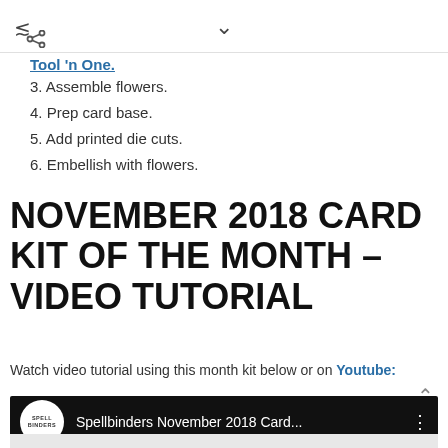< share icon | v chevron
Tool 'n One.
3. Assemble flowers.
4. Prep card base.
5. Add printed die cuts.
6. Embellish with flowers.
NOVEMBER 2018 CARD KIT OF THE MONTH – VIDEO TUTORIAL
Watch video tutorial using this month kit below or on Youtube:
[Figure (screenshot): YouTube video thumbnail showing Spellbinders November 2018 Card... with Spellbinders logo on black background]